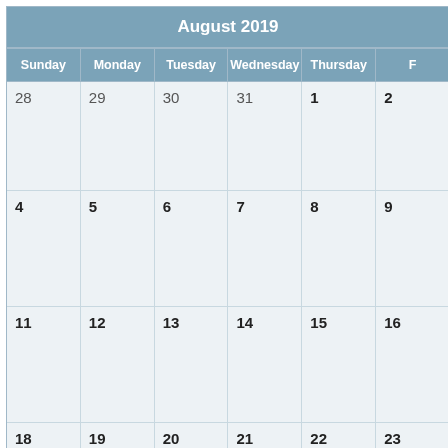| Sunday | Monday | Tuesday | Wednesday | Thursday | Friday | Saturday |
| --- | --- | --- | --- | --- | --- | --- |
| 28 | 29 | 30 | 31 | 1 | 2 | (cut off) |
| 4 | 5 | 6 | 7 | 8 | 9 | (cut off) |
| 11 | 12 | 13 | 14 | 15 | 16 | (cut off) |
| 18 | 19 | 20 | 21 | 22 | 23 | (cut off) |